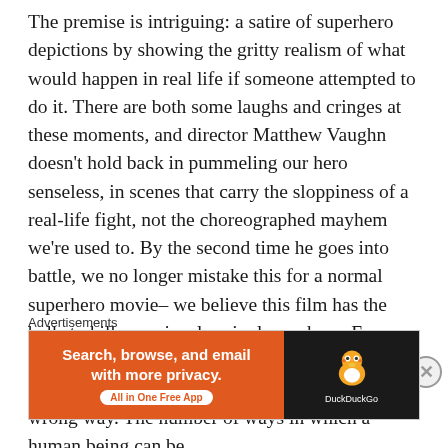The premise is intriguing: a satire of superhero depictions by showing the gritty realism of what would happen in real life if someone attempted to do it. There are both some laughs and cringes at these moments, and director Matthew Vaughn doesn't hold back in pummeling our hero senseless, in scenes that carry the sloppiness of a real-life fight, not the choreographed mayhem we're used to. By the second time he goes into battle, we no longer mistake this for a normal superhero movie– we believe this film has the balls to kill or seriously cripple our hero. Even something as simple as jumping down a few feet can indeed injure a human being if he lands the wrong way. The number of ways in which a human being can be
Advertisements
[Figure (other): DuckDuckGo advertisement banner with orange left panel reading 'Search, browse, and email with more privacy. All in One Free App' and dark right panel with DuckDuckGo duck logo and brand name.]